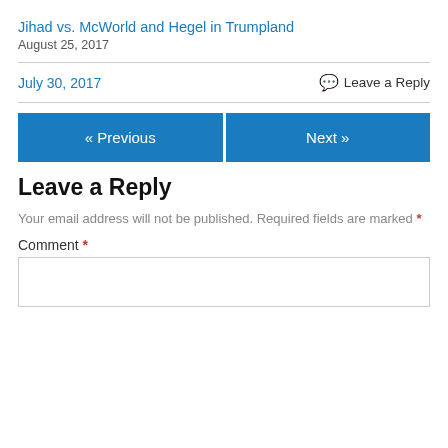Jihad vs. McWorld and Hegel in Trumpland
August 25, 2017
July 30, 2017
Leave a Reply
« Previous
Next »
Leave a Reply
Your email address will not be published. Required fields are marked *
Comment *